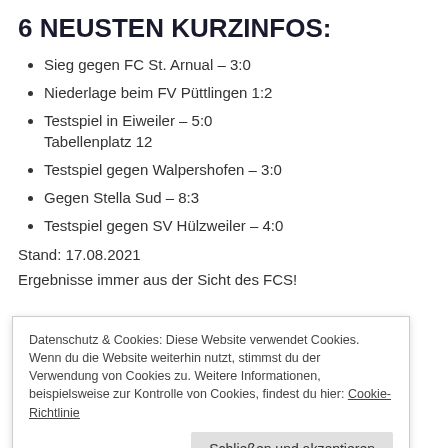6 NEUSTEN KURZINFOS:
Sieg gegen FC St. Arnual – 3:0
Niederlage beim FV Püttlingen 1:2
Testspiel in Eiweiler – 5:0
Tabellenplatz 12
Testspiel gegen Walpershofen – 3:0
Gegen Stella Sud – 8:3
Testspiel gegen SV Hülzweiler – 4:0
Stand: 17.08.2021
Ergebnisse immer aus der Sicht des FCS!
Datenschutz & Cookies: Diese Website verwendet Cookies. Wenn du die Website weiterhin nutzt, stimmst du der Verwendung von Cookies zu. Weitere Informationen, beispielsweise zur Kontrolle von Cookies, findest du hier: Cookie-Richtlinie
Schließen und akzeptieren